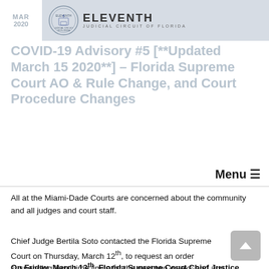MAR 2020
[Figure (logo): Eleventh Judicial Circuit of Florida seal and wordmark]
COVID-19 Advisory #5 [**Updated March 15 2020**] - Florida Supreme Court AO & Rule Change, and Court Procedure Changes
Menu ☰
All at the Miami-Dade Courts are concerned about the community and all judges and court staff.
Chief Judge Bertila Soto contacted the Florida Supreme Court on Thursday, March 12th, to request an order suspending legal time limits for the next two weeks and any other relief deemed necessary by the Court.
On Friday, March 13th, Florida Supreme Court Chief Justice Charles Canady issued Administrative Order AOSC 20-12 suspending legal time limits, grand jury proceedings, jury